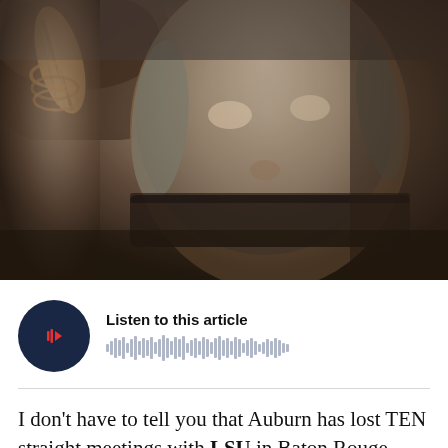[Figure (photo): A man wearing a metallic face restraint/helmet similar to a football or sci-fi movie prop, looking upward with arms visible above his head, from what appears to be a movie still, dark/moody lighting.]
[Figure (infographic): Audio player widget with dark navy circular play button containing a red play/waveform icon, labeled 'Listen to this article' with an audio waveform visualization to the right.]
I don't have to tell you that Auburn has lost TEN straight meetings with LSU in Baton Rouge, perhaps